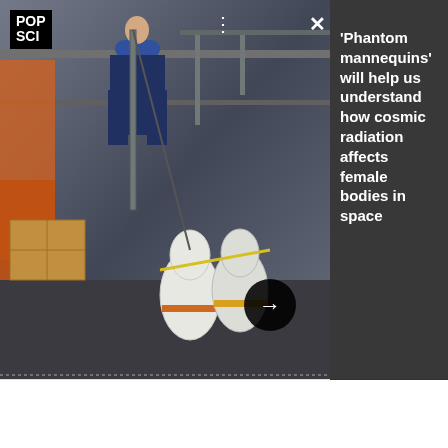[Figure (photo): A photo showing workers/scientists handling white mannequin-like forms (phantom mannequins) on what appears to be a ship or research vessel, with wooden boxes and mechanical equipment visible. A circular black arrow button overlay is shown.]
'Phantom mannequins' will help us understand how cosmic radiation affects female bodies in space
pursued a policy of total fire suppression for decades, but didn't realize that stamping out small blazes would cause ample flammable material to pile up on forest floors. Millions of people moved to the desert and tapped the serpentine Colorado River for their drinking water, but no one considered what would happen if a drought caused that river to run dry. Real estate developers created large condo buildings on